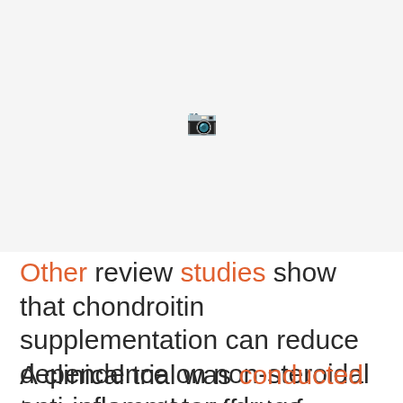[Figure (other): Light gray placeholder image area at the top of the page]
Other review studies show that chondroitin supplementation can reduce dependence on non-steroidal anti-inflammatory drugs.
A clinical trial was conducted to compare the effect of chondroitin and diclofenac